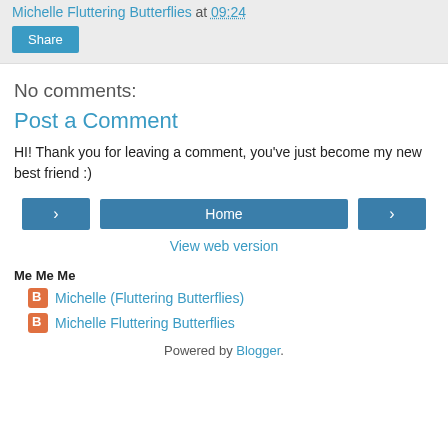Michelle Fluttering Butterflies at 09:24
Share
No comments:
Post a Comment
HI! Thank you for leaving a comment, you've just become my new best friend :)
< Home >
View web version
Me Me Me
Michelle (Fluttering Butterflies)
Michelle Fluttering Butterflies
Powered by Blogger.